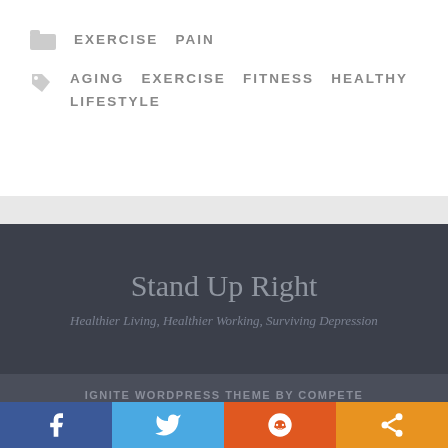EXERCISE  PAIN
AGING  EXERCISE  FITNESS  HEALTHY  LIFESTYLE
Stand Up Right
Healthier Living, Healthier Working, Surviving Depression
IGNITE WORDPRESS THEME BY COMPETE THEMES.